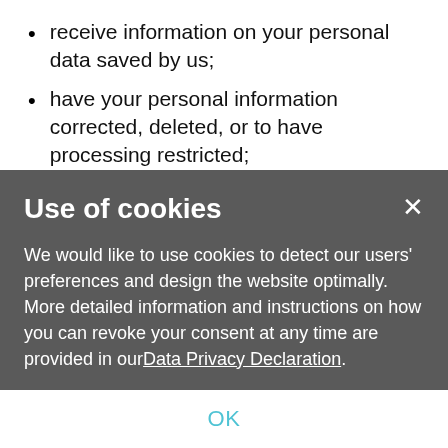receive information on your personal data saved by us;
have your personal information corrected, deleted, or to have processing restricted;
object to processing that serves our justifiable interest, the public interest, or profiling, unless we can show that there are mandatory grounds for
Use of cookies
We would like to use cookies to detect our users' preferences and design the website optimally. More detailed information and instructions on how you can revoke your consent at any time are provided in our Data Privacy Declaration.
OK